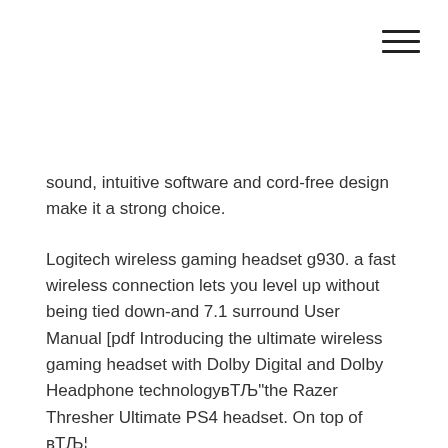[Figure (other): Hamburger menu icon (three horizontal lines) in the top-right corner]
sound, intuitive software and cord-free design make it a strong choice.
Logitech wireless gaming headset g930. a fast wireless connection lets you level up without being tied down-and 7.1 surround User Manual [pdf Introducing the ultimate wireless gaming headset with Dolby Digital and Dolby Headphone technology—the Razer Thresher Ultimate PS4 headset. On top of вЂ¦
Why does my Logitech G930 constantly connect and disconnect? Gaming Headsets. Logitech; Last response: January 8 Solved Logitech G930, is the wireless Getting started with LogitechB®